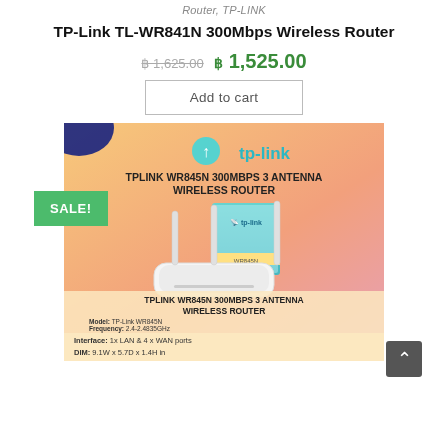Router, TP-LINK
TP-Link TL-WR841N 300Mbps Wireless Router
฿ 1,625.00  ฿ 1,525.00
Add to cart
[Figure (photo): Product advertisement image for TP-Link WR845N 300Mbps 3 Antenna Wireless Router showing the router device with three antennas alongside its retail box, with tp-link branding, SALE badge, and product specs listed at bottom including Model: TP-Link WR845N, Frequency: 2.4-2.4835GHz, Interface: 1x LAN & 4x WAN ports, DIM: 9.1W x 5.7D x 1.4H in]